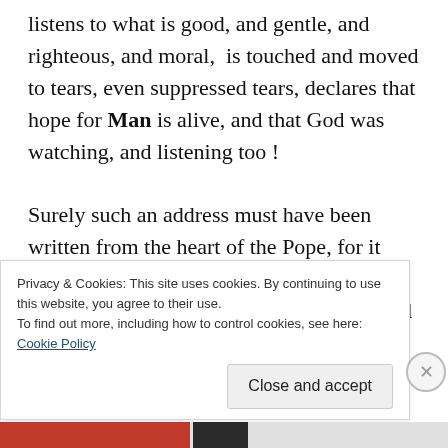listens to what is good, and gentle, and righteous, and moral,  is touched and moved to tears, even suppressed tears, declares that hope for Man is alive, and that God was watching, and listening too !

Surely such an address must have been written from the heart of the Pope, for it captured so ingeniously what he stood for, what he hoped for, what he subtly chastised for, without actually stating out loud the errors and
Privacy & Cookies: This site uses cookies. By continuing to use this website, you agree to their use.
To find out more, including how to control cookies, see here:
Cookie Policy
Close and accept